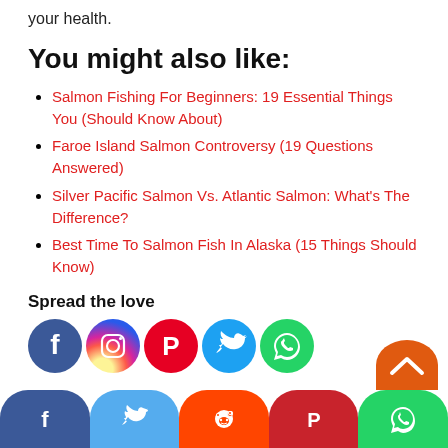your health.
You might also like:
Salmon Fishing For Beginners: 19 Essential Things You (Should Know About)
Faroe Island Salmon Controversy (19 Questions Answered)
Silver Pacific Salmon Vs. Atlantic Salmon: What's The Difference?
Best Time To Salmon Fish In Alaska (15 Things Should Know)
Spread the love
[Figure (infographic): Row of social media sharing icons: Facebook, Instagram, Pinterest, Twitter, WhatsApp]
[Figure (infographic): Bottom bar with social share buttons: Facebook, Twitter, Reddit, Pinterest, WhatsApp. Partial orange scroll-to-top button on right.]